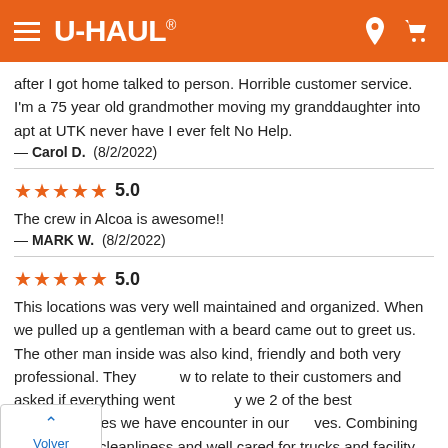U-HAUL
after I got home talked to person. Horrible customer service. I'm a 75 year old grandmother moving my granddaughter into apt at UTK never have I ever felt No Help.
— Carol D.  (8/2/2022)
5.0
The crew in Alcoa is awesome!!
— MARK W.  (8/2/2022)
5.0
This locations was very well maintained and organized. When we pulled up a gentleman with a beard came out to greet us. The other man inside was also kind, friendly and both very professional. They know to relate to their customers and asked if everything went well, they were 2 of the best representatives we have encounter in our moves. Combining that with the cleanliness and well cared for trucks and facility, this was a very pleasant experience. I sadly can